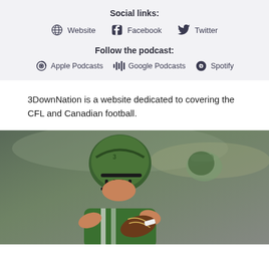Social links:
Website   Facebook   Twitter
Follow the podcast:
Apple Podcasts   Google Podcasts   Spotify
3DownNation is a website dedicated to covering the CFL and Canadian football.
[Figure (photo): Football player in green helmet and green jersey holding a football, preparing to throw, with another player in background]